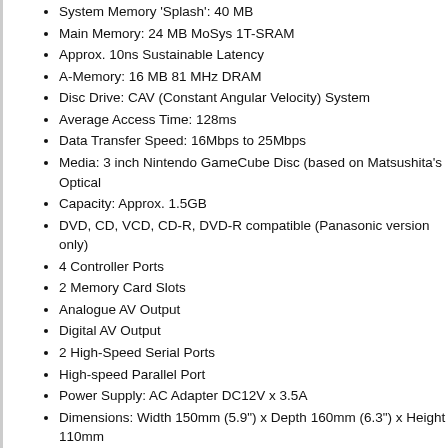System Memory 'Splash': 40 MB
Main Memory: 24 MB MoSys 1T-SRAM
Approx. 10ns Sustainable Latency
A-Memory: 16 MB 81 MHz DRAM
Disc Drive: CAV (Constant Angular Velocity) System
Average Access Time: 128ms
Data Transfer Speed: 16Mbps to 25Mbps
Media: 3 inch Nintendo GameCube Disc (based on Matsushita's Optical
Capacity: Approx. 1.5GB
DVD, CD, VCD, CD-R, DVD-R compatible (Panasonic version only)
4 Controller Ports
2 Memory Card Slots
Analogue AV Output
Digital AV Output
2 High-Speed Serial Ports
High-speed Parallel Port
Power Supply: AC Adapter DC12V x 3.5A
Dimensions: Width 150mm (5.9") x Depth 160mm (6.3") x Height 110mm
History
The Nintendo GameCube was unveiled at Nintendo's Space World 2000 c original code name was Project Dolphin but Nintendo chose not to call the conso then ended up with "GameCube". While the 128-bit console is so small, it is mor
Nintendo's focus is on gameplay, making fun and exciting games that are ve and be more realistic than ever before.
The GameCube was released in North America on November 18th 2001, wh quarter of 2002.
Develop for GameCube
Like every game consoles development, it's necessary to get a license from all the technical documentations. You can get this license, if your project is appro